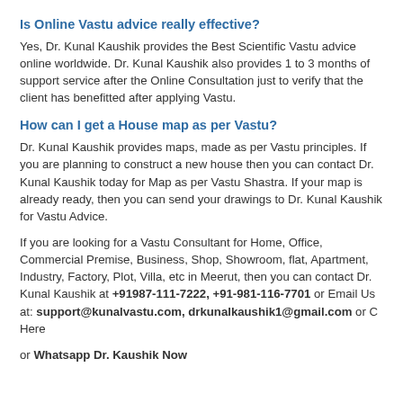Is Online Vastu advice really effective?
Yes, Dr. Kunal Kaushik provides the Best Scientific Vastu advice online worldwide. Dr. Kunal Kaushik also provides 1 to 3 months of support service after the Online Consultation just to verify that the client has benefitted after applying Vastu.
How can I get a House map as per Vastu?
Dr. Kunal Kaushik provides maps, made as per Vastu principles. If you are planning to construct a new house then you can contact Dr. Kunal Kaushik today for Map as per Vastu Shastra. If your map is already ready, then you can send your drawings to Dr. Kunal Kaushik for Vastu Advice.
If you are looking for a Vastu Consultant for Home, Office, Commercial Premise, Business, Shop, Showroom, flat, Apartment, Industry, Factory, Plot, Villa, etc in Meerut, then you can contact Dr. Kunal Kaushik at +91987-111-7222, +91-981-116-7701 or Email Us at: support@kunalvastu.com, drkunalkaushik1@gmail.com or C Here
or Whatsapp Dr. Kaushik Now